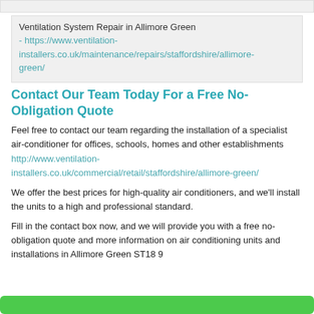Ventilation System Repair in Allimore Green - https://www.ventilation-installers.co.uk/maintenance/repairs/staffordshire/allimore-green/
Contact Our Team Today For a Free No-Obligation Quote
Feel free to contact our team regarding the installation of a specialist air-conditioner for offices, schools, homes and other establishments http://www.ventilation-installers.co.uk/commercial/retail/staffordshire/allimore-green/
We offer the best prices for high-quality air conditioners, and we'll install the units to a high and professional standard.
Fill in the contact box now, and we will provide you with a free no-obligation quote and more information on air conditioning units and installations in Allimore Green ST18 9
[Figure (other): Green button at bottom of page]